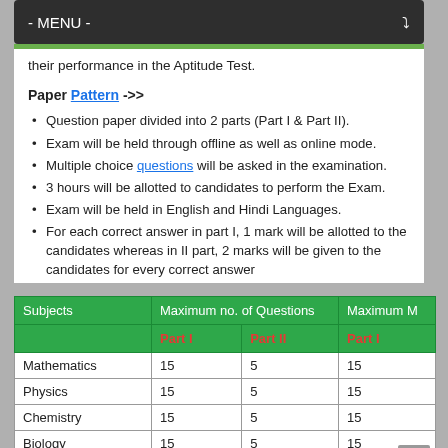- MENU -
their performance in the Aptitude Test.
Paper Pattern ->>
Question paper divided into 2 parts (Part I & Part II).
Exam will be held through offline as well as online mode.
Multiple choice questions will be asked in the examination.
3 hours will be allotted to candidates to perform the Exam.
Exam will be held in English and Hindi Languages.
For each correct answer in part I, 1 mark will be allotted to the candidates whereas in II part, 2 marks will be given to the candidates for every correct answer
| Subjects | Maximum no. of Questions — Part I | Maximum no. of Questions — Part II | Maximum M — Part I |
| --- | --- | --- | --- |
| Mathematics | 15 | 5 | 15 |
| Physics | 15 | 5 | 15 |
| Chemistry | 15 | 5 | 15 |
| Biology | 15 | 5 | 15 |
| Total | 60 | 20 | 60 |